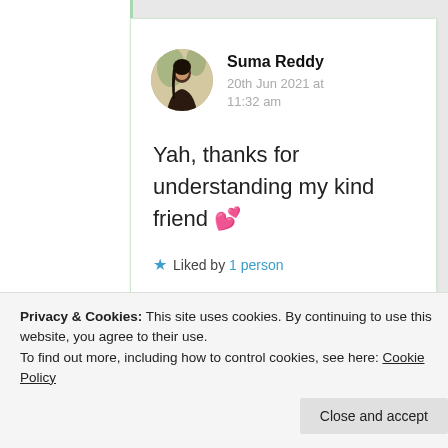[Figure (photo): Circular avatar photo of Suma Reddy, a woman with dark hair]
Suma Reddy
20th Jun 2021 at 11:32 am
Yah, thanks for understanding my kind friend 💕
★ Liked by 1 person
Privacy & Cookies: This site uses cookies. By continuing to use this website, you agree to their use.
To find out more, including how to control cookies, see here: Cookie Policy
Close and accept
20th Jun 2021 at